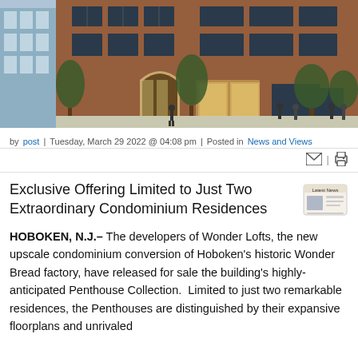[Figure (photo): Exterior rendering of Wonder Lofts building, a brick industrial-style condominium conversion with large windows, arched entrance, and people walking in front.]
by post | Tuesday, March 29 2022 @ 04:08 pm | Posted in News and Views
Exclusive Offering Limited to Just Two Extraordinary Condominium Residences
HOBOKEN, N.J.– The developers of Wonder Lofts, the new upscale condominium conversion of Hoboken's historic Wonder Bread factory, have released for sale the building's highly-anticipated Penthouse Collection. Limited to just two remarkable residences, the Penthouses are distinguished by their expansive floorplans and unrivaled